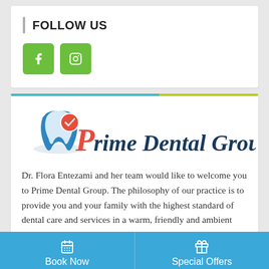FOLLOW US
[Figure (illustration): Facebook and Instagram green social media buttons]
[Figure (logo): Prime Dental Group logo with blue tooth graphic and red/dark blue italic text]
Dr. Flora Entezami and her team would like to welcome you to Prime Dental Group. The philosophy of our practice is to provide you and your family with the highest standard of dental care and services in a warm, friendly and ambient environment.
Book Now   Special Offers